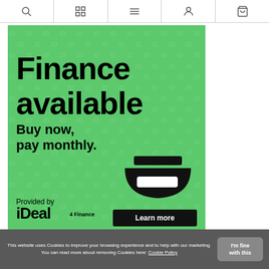Navigation bar with search, grid, menu, account, and cart icons
[Figure (infographic): Green banner advertisement for finance/buy-now-pay-monthly service. Text: 'Finance available. Buy now, pay monthly.' Provided by iDeal 4 Finance. Learn more button. Green background with repeating iD watermark pattern and robot icon.]
This website uses Cookies to improve your browsing experience and to help with our marketing. You can read more about removing Cookies here: Cookie Policy
I'm fine with this